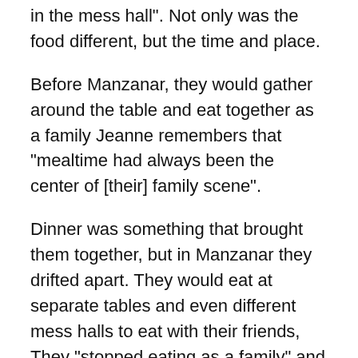in the mess hall". Not only was the food different, but the time and place.
Before Manzanar, they would gather around the table and eat together as a family Jeanne remembers that “mealtime had always been the center of [their] family scene”.
Dinner was something that brought them together, but in Manzanar they drifted apart. They would eat at separate tables and even different mess halls to eat with their friends, They “stopped eating as a family” and they couldn’t stop it. It inevitably changed the Wakatsuki family. Minuscule things like mealtime were only the beginning of horrible changes to come,